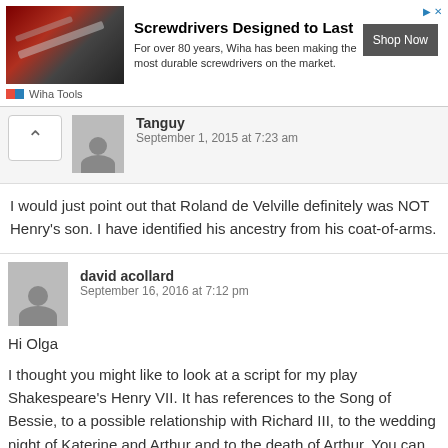[Figure (other): Advertisement banner for Wiha Tools showing screwdrivers, with title 'Screwdrivers Designed to Last', body text 'For over 80 years, Wiha has been making the most durable screwdrivers on the market.', and a 'Shop Now' button.]
Tanguy
September 1, 2015 at 7:23 am
I would just point out that Roland de Velville definitely was NOT Henry's son. I have identified his ancestry from his coat-of-arms.
david acollard
September 16, 2016 at 7:12 pm
Hi Olga
I thought you might like to look at a script for my play Shakespeare's Henry VII. It has references to the Song of Bessie, to a possible relationship with Richard III, to the wedding night of Katerine and Arthur and to the death of Arthur. You can